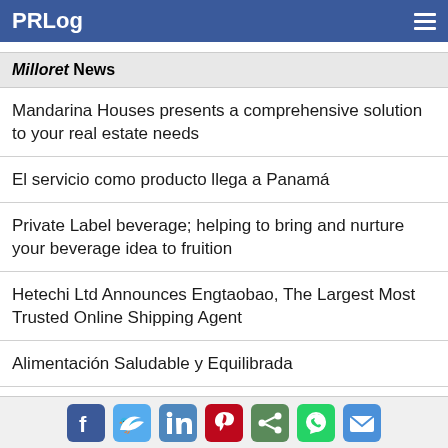PRLog
Milloret News
Mandarina Houses presents a comprehensive solution to your real estate needs
El servicio como producto llega a Panamá
Private Label beverage; helping to bring and nurture your beverage idea to fruition
Hetechi Ltd Announces Engtaobao, The Largest Most Trusted Online Shipping Agent
Alimentación Saludable y Equilibrada
Trending
Latin Hip Hop Artist & Producer Fade Dresto ready to embark on his…
Social share icons: Facebook, Twitter, LinkedIn, Pinterest, Share, WhatsApp, Email